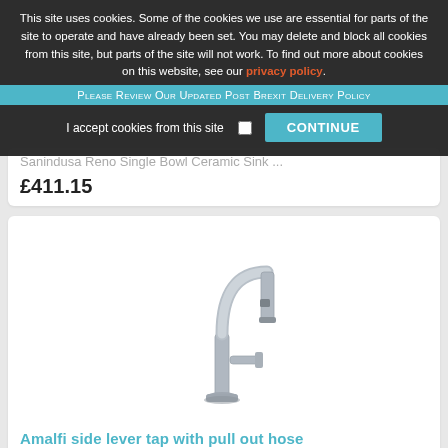This site uses cookies. Some of the cookies we use are essential for parts of the site to operate and have already been set. You may delete and block all cookies from this site, but parts of the site will not work. To find out more about cookies on this website, see our privacy policy.
Please Review Our Updated Post Brexit Delivery Policy
I accept cookies from this site   CONTINUE
Sanindusa Reno Single Bowl Ceramic Sink ...
£411.15
[Figure (photo): Stainless steel Amalfi side lever kitchen tap with pull out hose, featuring a high arc gooseneck spout and single lever handle on the right side]
Amalfi side lever tap with pull out hose
£93.35